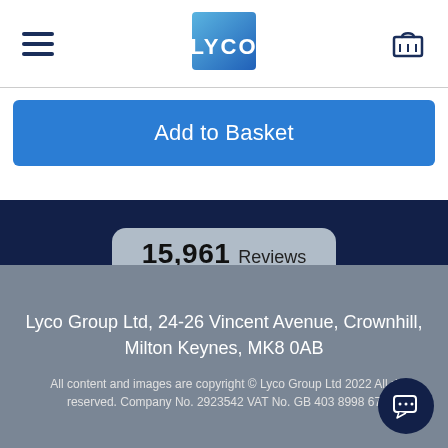LYCO (logo) — hamburger menu and basket icon
Add to Basket
15,961 Reviews
[Figure (logo): REVIEWS.io logo with star icon]
Lyco Group Ltd, 24-26 Vincent Avenue, Crownhill, Milton Keynes, MK8 0AB
All content and images are copyright © Lyco Group Ltd 2022 All rights reserved. Company No. 2923542 VAT No. GB 403 8998 67